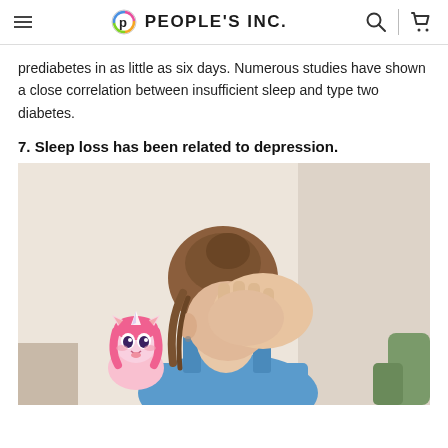PEOPLE'S INC.
prediabetes in as little as six days. Numerous studies have shown a close correlation between insufficient sleep and type two diabetes.
7. Sleep loss has been related to depression.
[Figure (photo): A young woman with brown hair in a bun, wearing a blue tank top, holding her hand to her face in a distressed or depressed pose. A small anime-style pink-haired unicorn girl character is overlaid in the lower left area of the photo.]